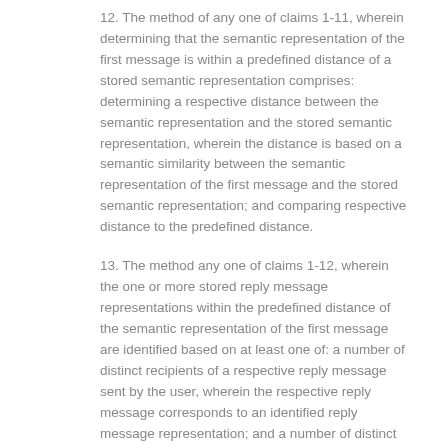12. The method of any one of claims 1-11, wherein determining that the semantic representation of the first message is within a predefined distance of a stored semantic representation comprises: determining a respective distance between the semantic representation and the stored semantic representation, wherein the distance is based on a semantic similarity between the semantic representation of the first message and the stored semantic representation; and comparing respective distance to the predefined distance.
13. The method any one of claims 1-12, wherein the one or more stored reply message representations within the predefined distance of the semantic representation of the first message are identified based on at least one of: a number of distinct recipients of a respective reply message sent by the user, wherein the respective reply message corresponds to an identified reply message representation; and a number of distinct recipients of all messages sent by the user.
14. The method of any one of claims 1-13, wherein the one or more stored reply message representations within the